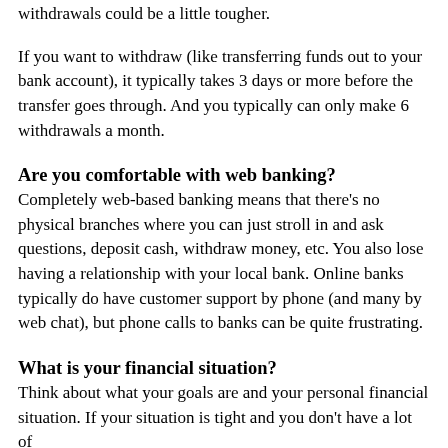withdrawals could be a little tougher.
If you want to withdraw (like transferring funds out to your bank account), it typically takes 3 days or more before the transfer goes through. And you typically can only make 6 withdrawals a month.
Are you comfortable with web banking?
Completely web-based banking means that there's no physical branches where you can just stroll in and ask questions, deposit cash, withdraw money, etc. You also lose having a relationship with your local bank. Online banks typically do have customer support by phone (and many by web chat), but phone calls to banks can be quite frustrating.
What is your financial situation?
Think about what your goals are and your personal financial situation. If your situation is tight and you don't have a lot of